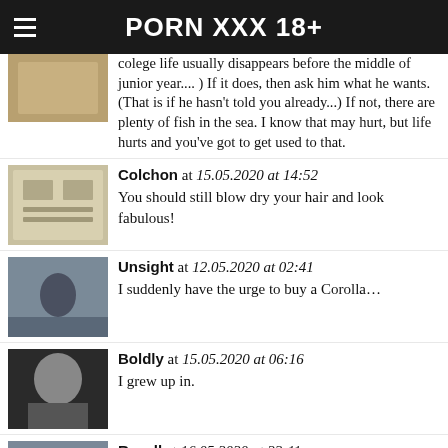PORN XXX 18+
colege life usually disappears before the middle of junior year.... ) If it does, then ask him what he wants. (That is if he hasn't told you already...) If not, there are plenty of fish in the sea. I know that may hurt, but life hurts and you've got to get used to that.
Colchon at 15.05.2020 at 14:52
You should still blow dry your hair and look fabulous!
Unsight at 12.05.2020 at 02:41
I suddenly have the urge to buy a Corolla...
Boldly at 15.05.2020 at 06:16
I grew up in.
Recall at 16.05.2020 at 22:11
Hi. I'm a mother of 3 children and recently separated. I am trying to figure out what it's like to be single again. I am looking for